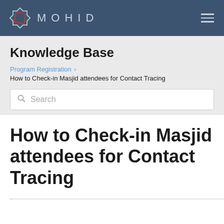MOHID
Knowledge Base
Program Registration › How to Check-in Masjid attendees for Contact Tracing
Search
How to Check-in Masjid attendees for Contact Tracing